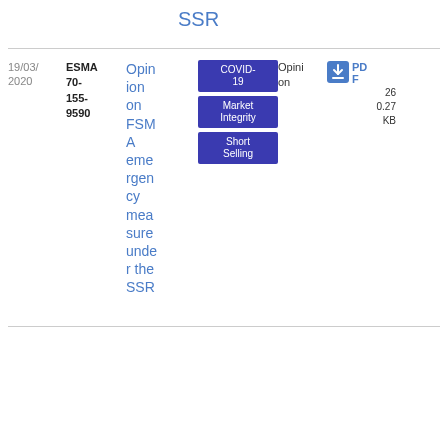SSR
| Date | Reference | Title | Tags | Type | File |
| --- | --- | --- | --- | --- | --- |
| 19/03/2020 | ESMA 70-155-9590 | Opinion on FSMA emergency measure under the SSR | COVID-19; Market Integrity; Short Selling | Opinion | PDF 26 0.27 KB |
| 18/03/2020 | ESMA 70-155-9581 | Opinion on AMF eme | COVID-19; Market Integrity; Short | Opinion | PDF 25 3.85 KB |